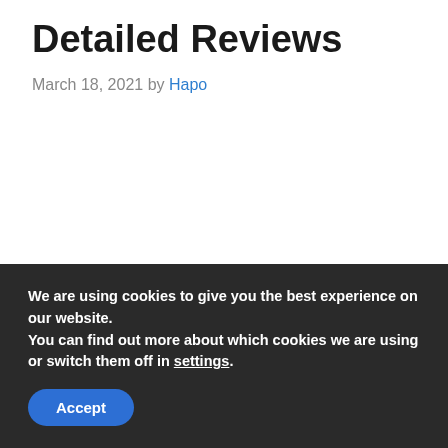Detailed Reviews
March 18, 2021 by Hapo
We are using cookies to give you the best experience on our website.
You can find out more about which cookies we are using or switch them off in settings.
Accept